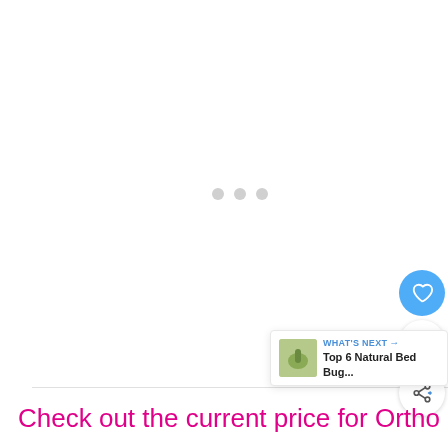[Figure (screenshot): Loading screen with three light gray dots centered on a white background area]
[Figure (infographic): Blue circular heart/favorite button, a white circular button showing count '1', and a white circular share button with share icon]
[Figure (infographic): What's Next card showing 'WHAT'S NEXT →' label and 'Top 6 Natural Bed Bug...' title with a thumbnail image]
Check out the current price for Ortho